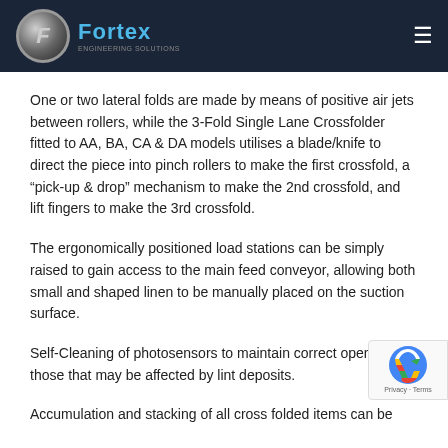Fortex
One or two lateral folds are made by means of positive air jets between rollers, while the 3-Fold Single Lane Crossfolder fitted to AA, BA, CA & DA models utilises a blade/knife to direct the piece into pinch rollers to make the first crossfold, a “pick-up & drop” mechanism to make the 2nd crossfold, and lift fingers to make the 3rd crossfold.
The ergonomically positioned load stations can be simply raised to gain access to the main feed conveyor, allowing both small and shaped linen to be manually placed on the suction surface.
Self-Cleaning of photosensors to maintain correct operation of those that may be affected by lint deposits.
Accumulation and stacking of all cross folded items can be